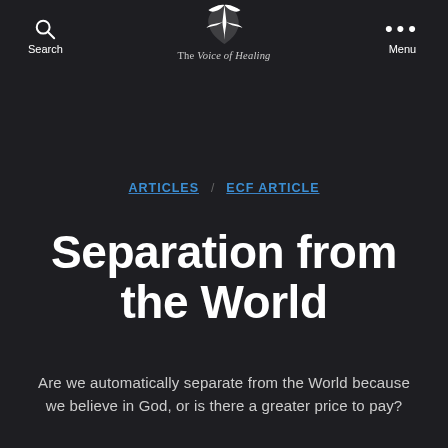Search | The Voice of Healing | Menu
[Figure (logo): The Voice of Healing logo — stylized bird/dove shape in white above the text 'The Voice of Healing']
ARTICLES  ECF ARTICLE
Separation from the World
Are we automatically separate from the World because we believe in God, or is there a greater price to pay?